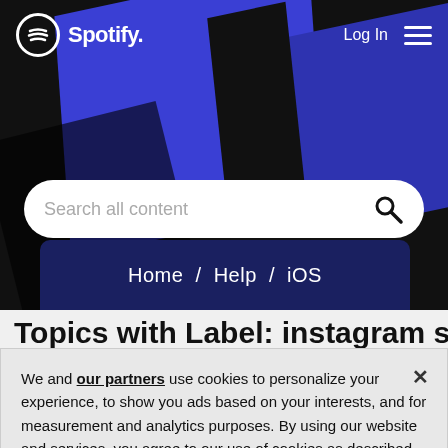[Figure (screenshot): Spotify website header with black background, blue diagonal geometric shapes, Spotify logo top-left, Log In and hamburger menu top-right, search bar with placeholder 'Search all content', and breadcrumb navigation showing Home / Help / iOS on a dark navy card]
Topics with Label: instagram story
We and our partners use cookies to personalize your experience, to show you ads based on your interests, and for measurement and analytics purposes. By using our website and services, you agree to our use of cookies as described in our Cookie Policy.